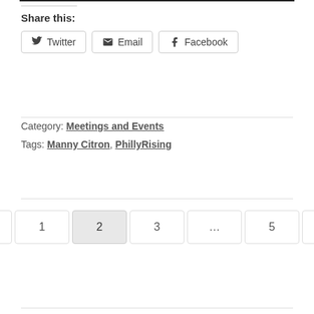Share this:
Twitter | Email | Facebook
Category: Meetings and Events
Tags: Manny Citron, PhillyRising
Previous 1 2 3 … 5 Next